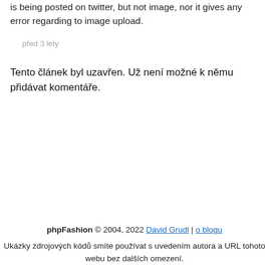is being posted on twitter, but not image, nor it gives any error regarding to image upload.
před 3 lety
Tento článek byl uzavřen. Už není možné k němu přidávat komentáře.
phpFashion © 2004, 2022 David Grudl | o blogu
Ukázky zdrojových kódů smíte používat s uvedením autora a URL tohoto webu bez dalších omezení.